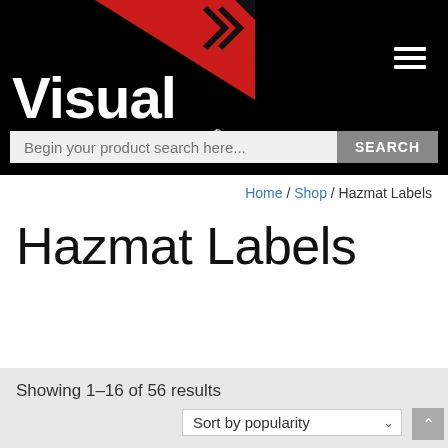[Figure (logo): Visual Workplace Inc. logo with red triangle graphic on black background]
Begin your product search here... SEARCH
Home / Shop / Hazmat Labels
Hazmat Labels
Showing 1–16 of 56 results
Sort by popularity